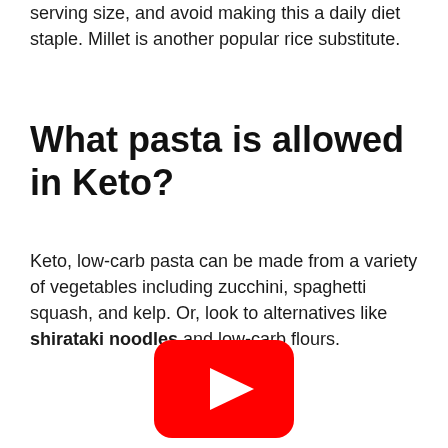serving size, and avoid making this a daily diet staple. Millet is another popular rice substitute.
What pasta is allowed in Keto?
Keto, low-carb pasta can be made from a variety of vegetables including zucchini, spaghetti squash, and kelp. Or, look to alternatives like shirataki noodles and low-carb flours.
[Figure (other): YouTube play button icon — red rounded rectangle with white triangle play arrow]